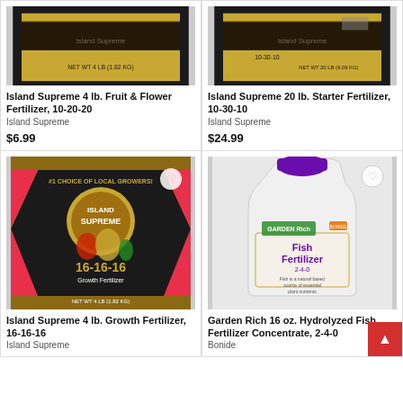[Figure (photo): Island Supreme 4 lb. Fruit & Flower Fertilizer bag, 10-20-20, black and gold packaging]
Island Supreme 4 lb. Fruit & Flower Fertilizer, 10-20-20
Island Supreme
$6.99
[Figure (photo): Island Supreme 20 lb. Starter Fertilizer bag, 10-30-10, black and gold packaging]
Island Supreme 20 lb. Starter Fertilizer, 10-30-10
Island Supreme
$24.99
[Figure (photo): Island Supreme 4 lb. Growth Fertilizer 16-16-16 bag, colorful pink, black, yellow packaging with vegetables]
Island Supreme 4 lb. Growth Fertilizer, 16-16-16
Island Supreme
[Figure (photo): Garden Rich 16 oz. Hydrolyzed Fish Fertilizer Concentrate 2-4-0 white plastic bottle with purple cap]
Garden Rich 16 oz. Hydrolyzed Fish Fertilizer Concentrate, 2-4-0
Bonide